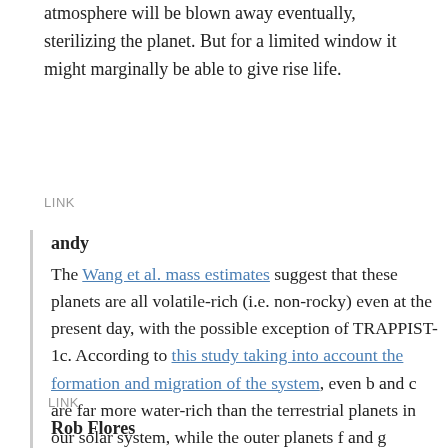atmosphere will be blown away eventually, sterilizing the planet. But for a limited window it might marginally be able to give rise life.
LINK
andy
The Wang et al. mass estimates suggest that these planets are all volatile-rich (i.e. non-rocky) even at the present day, with the possible exception of TRAPPIST-1c. According to this study taking into account the formation and migration of the system, even b and c are far more water-rich than the terrestrial planets in our solar system, while the outer planets f and g contain around 50% water by mass.
LINK
Rob Flores